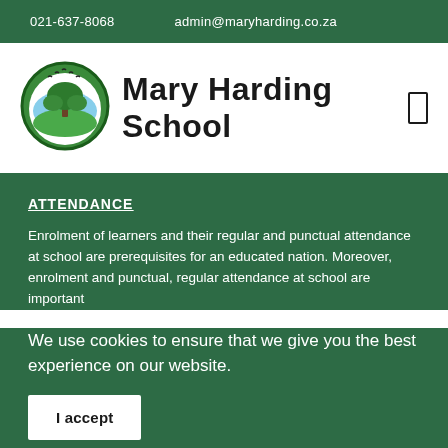021-637-8068    admin@maryharding.co.za
[Figure (logo): Mary Harding School logo: circular green emblem with a tree, blue arc, and birds above, with green grass below]
Mary Harding School
ATTENDANCE
Enrolment of learners and their regular and punctual attendance at school are prerequisites for an educated nation. Moreover, enrolment and punctual, regular attendance at school are important
We use cookies to ensure that we give you the best experience on our website.
I accept